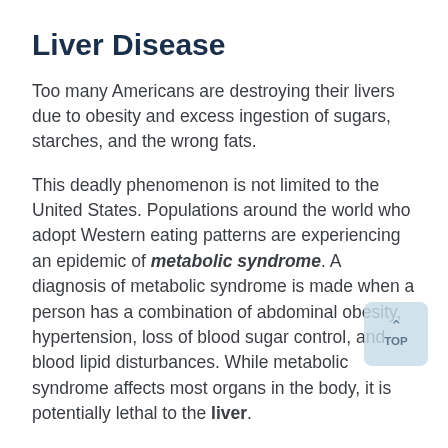Liver Disease
Too many Americans are destroying their livers due to obesity and excess ingestion of sugars, starches, and the wrong fats.
This deadly phenomenon is not limited to the United States. Populations around the world who adopt Western eating patterns are experiencing an epidemic of metabolic syndrome. A diagnosis of metabolic syndrome is made when a person has a combination of abdominal obesity, hypertension, loss of blood sugar control, and blood lipid disturbances. While metabolic syndrome affects most organs in the body, it is potentially lethal to the liver.
Metabolic syndrome can change the way liver